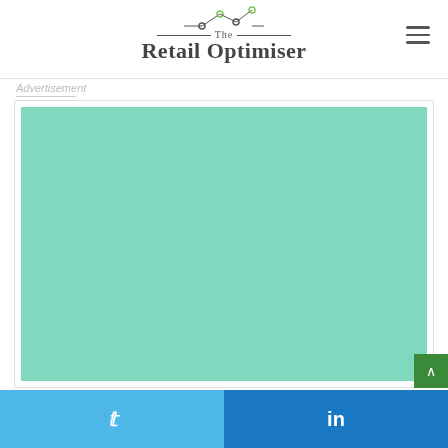The Retail Optimiser
Advertisement
[Figure (other): Large teal/mint green advertisement placeholder block]
[Figure (other): Twitter and LinkedIn social share buttons at bottom of page]